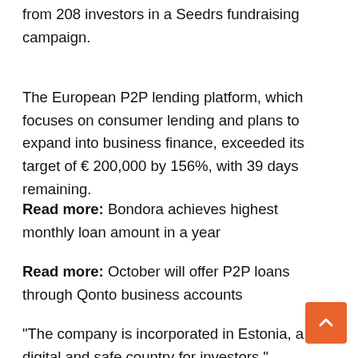from 208 investors in a Seedrs fundraising campaign.
The European P2P lending platform, which focuses on consumer lending and plans to expand into business finance, exceeded its target of € 200,000 by 156%, with 39 days remaining.
Read more: Bondora achieves highest monthly loan amount in a year
Read more: October will offer P2P loans through Qonto business accounts
“The company is incorporated in Estonia, a digital and safe country for investors,” Fagura said on his fundraising page on the crowdfunding